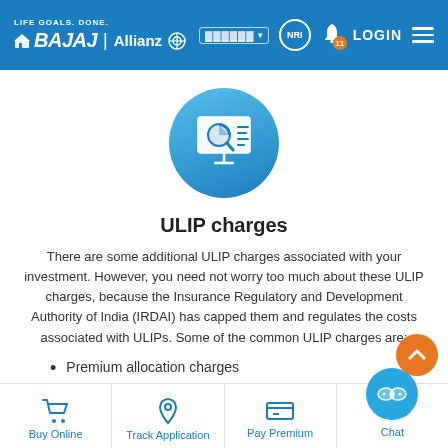LIFE GOALS. DONE. BAJAJ Allianz | LOGIN
[Figure (illustration): Circular blue icon with a presentation screen showing a pie chart and magnifying glass, ULIP charges illustration]
ULIP charges
There are some additional ULIP charges associated with your investment. However, you need not worry too much about these ULIP charges, because the Insurance Regulatory and Development Authority of India (IRDAI) has capped them and regulates the costs associated with ULIPs. Some of the common ULIP charges are:
Premium allocation charges
Mortality charges
Buy Online | Track Application | Pay Premium | Chat